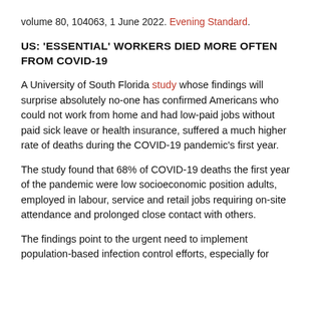volume 80, 104063, 1 June 2022. Evening Standard.
US: 'ESSENTIAL' WORKERS DIED MORE OFTEN FROM COVID-19
A University of South Florida study whose findings will surprise absolutely no-one has confirmed Americans who could not work from home and had low-paid jobs without paid sick leave or health insurance, suffered a much higher rate of deaths during the COVID-19 pandemic's first year.
The study found that 68% of COVID-19 deaths the first year of the pandemic were low socioeconomic position adults, employed in labour, service and retail jobs requiring on-site attendance and prolonged close contact with others.
The findings point to the urgent need to implement population-based infection control efforts, especially for